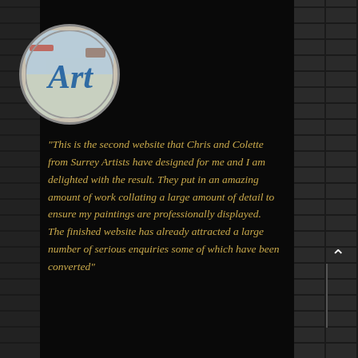[Figure (logo): Circular logo with 'Art' text in blue italic font over a painted landscape background]
"This is the second website that Chris and Colette from Surrey Artists have designed for me and I am delighted with the result. They put in an amazing amount of work collating a large amount of detail to ensure my paintings are professionally displayed. The finished website has already attracted a large number of serious enquiries some of which have been converted"